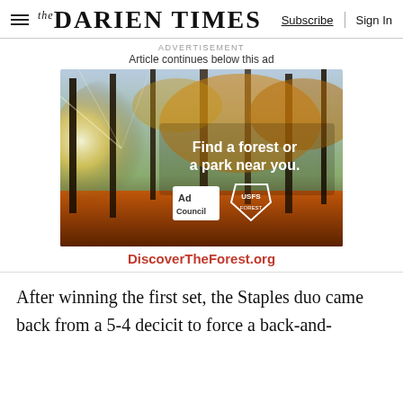The Darien Times | Subscribe | Sign In
ADVERTISEMENT
Article continues below this ad
[Figure (photo): Advertisement image showing an autumn forest with sunlight filtering through trees and orange leaves on the ground. Text overlay reads 'Find a forest or a park near you.' with Ad Council and US Forest Service logos. Below image: DiscoverTheForest.org]
After winning the first set, the Staples duo came back from a 5-4 decicit to force a back-and-